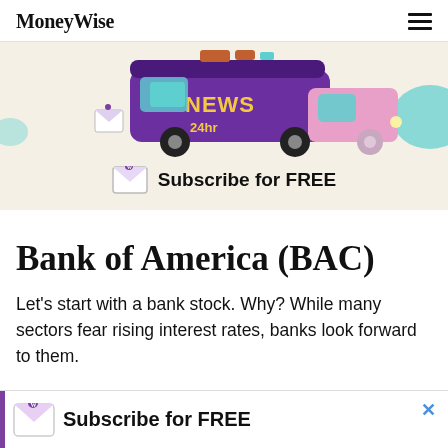MoneyWise
[Figure (illustration): Illustrated cartoon news van (purple and pink) with 'NEWS 24hr' text, on a beige background, with MoneyWise envelope logo and 'Subscribe for FREE' text below it.]
Bank of America (BAC)
Let's start with a bank stock. Why? While many sectors fear rising interest rates, banks look forward to them.
[Figure (illustration): Bottom banner with purple left stripe, MoneyWise envelope logo and 'Subscribe for FREE' text, with a blue X close button.]